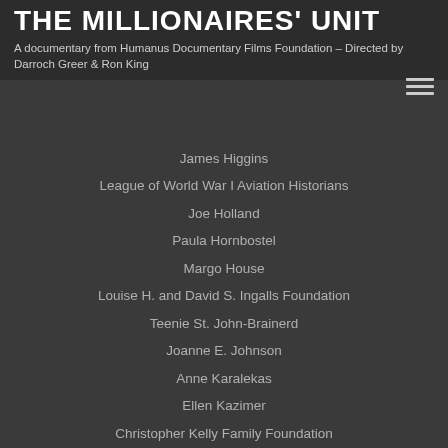Thomas Heath
THE MILLIONAIRES' UNIT
A documentary from Humanus Documentary Films Foundation – Directed by Darroch Greer & Ron King
James Higgins
League of World War I Aviation Historians
Joe Holland
Paula Hornbostel
Margo House
Louise H. and David S. Ingalls Foundation
Teenie St. John-Brainerd
Joanne E. Johnson
Anne Karalekas
Ellen Kazimer
Christopher Kelly Family Foundation